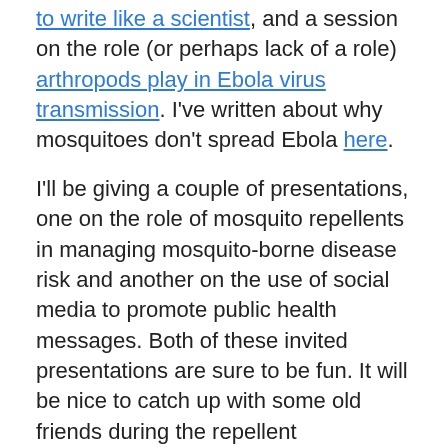to write like a scientist, and a session on the role (or perhaps lack of a role) arthropods play in Ebola virus transmission. I've written about why mosquitoes don't spread Ebola here.
I'll be giving a couple of presentations, one on the role of mosquito repellents in managing mosquito-borne disease risk and another on the use of social media to promote public health messages. Both of these invited presentations are sure to be fun. It will be nice to catch up with some old friends during the repellent symposium. I recently contributed a book chapter to the new handbook on insect repellents edited by the session organizer/moderator Mustapha Debboun (alongside Dan Strickman and Steve Francis).  the symposium.The social media session will be fun too and, apart from sharing my experiences in using social media to promote public health